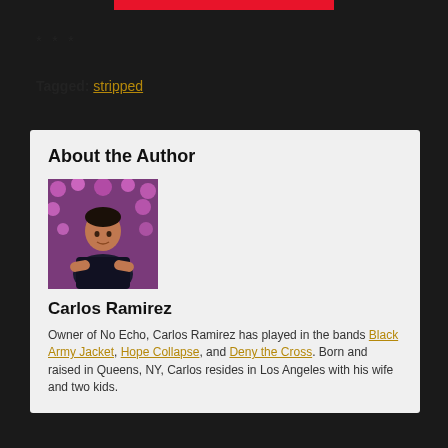[Figure (other): Red horizontal bar at top center of page]
* * *
Tagged: stripped
About the Author
[Figure (photo): Photo of Carlos Ramirez, a man with crossed arms wearing a black t-shirt in front of pink/purple flowering bushes]
Carlos Ramirez
Owner of No Echo, Carlos Ramirez has played in the bands Black Army Jacket, Hope Collapse, and Deny the Cross. Born and raised in Queens, NY, Carlos resides in Los Angeles with his wife and two kids.